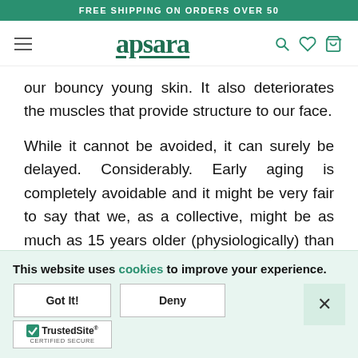FREE SHIPPING ON ORDERS OVER 50
[Figure (logo): Apsara brand logo with hamburger menu, search, heart, and cart icons]
our bouncy young skin. It also deteriorates the muscles that provide structure to our face.
While it cannot be avoided, it can surely be delayed. Considerably. Early aging is completely avoidable and it might be very fair to say that we, as a collective, might be as much as 15 years older (physiologically) than we need to.
This website uses cookies to improve your experience.
Got It!
Deny
[Figure (logo): TrustedSite Certified Secure badge with checkmark]